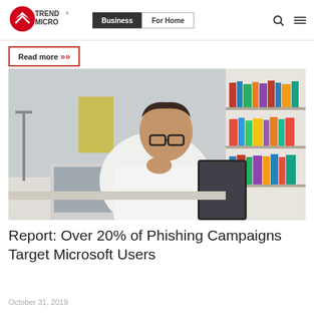Trend Micro | Business | For Home
Read more »
[Figure (photo): Man with glasses in white shirt sitting at a desk with a laptop, holding a tablet, with bookshelves in the background]
Report: Over 20% of Phishing Campaigns Target Microsoft Users
October 31, 2019